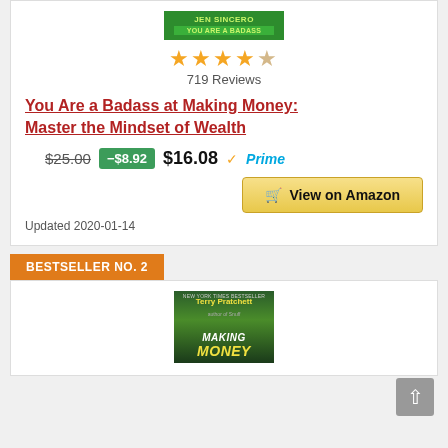[Figure (illustration): Book cover for 'You Are a Badass' by Jen Sincero with green background and yellow-green text]
[Figure (other): 4-star rating shown with gold stars (4 filled, 1 partial/empty)]
719 Reviews
You Are a Badass at Making Money: Master the Mindset of Wealth
$25.00  -$8.92  $16.08  Prime
View on Amazon
Updated 2020-01-14
BESTSELLER NO. 2
[Figure (illustration): Book cover for a Terry Pratchett book about Making Money, green background with author name and title visible]